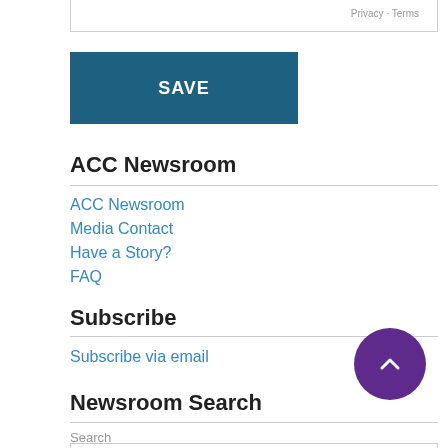Privacy · Terms
SAVE
ACC Newsroom
ACC Newsroom
Media Contact
Have a Story?
FAQ
Subscribe
Subscribe via email
Newsroom Search
Search